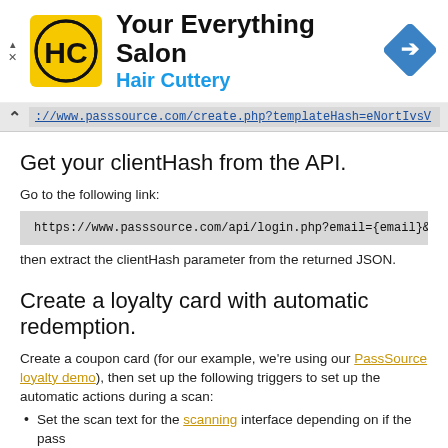[Figure (screenshot): Hair Cuttery advertisement banner with HC logo (black and yellow), title 'Your Everything Salon', subtitle 'Hair Cuttery' in blue, and a blue direction road sign icon on the right.]
[Figure (screenshot): Browser URL bar showing partial URL: ://www.passsource.com/create.php?templateHash=eNortIVsV]
Get your clientHash from the API.
Go to the following link:
https://www.passsource.com/api/login.php?email={email}&passwo
then extract the clientHash parameter from the returned JSON.
Create a loyalty card with automatic redemption.
Create a coupon card (for our example, we're using our PassSource loyalty demo), then set up the following triggers to set up the automatic actions during a scan:
Set the scan text for the scanning interface depending on if the pass